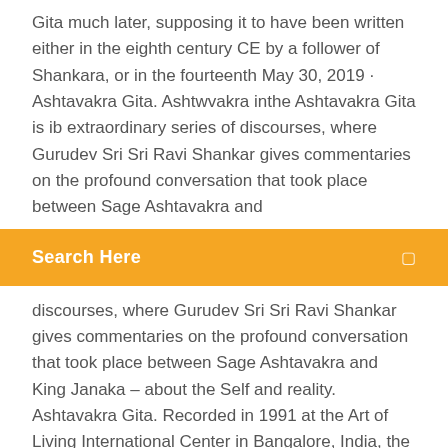Gita much later, supposing it to have been written either in the eighth century CE by a follower of Shankara, or in the fourteenth May 30, 2019 · Ashtavakra Gita. Ashtwvakra inthe Ashtavakra Gita is ib extraordinary series of discourses, where Gurudev Sri Sri Ravi Shankar gives commentaries on the profound conversation that took place between Sage Ashtavakra and
[Figure (screenshot): Orange search bar with text 'Search Here' in white bold and a small icon on the right]
discourses, where Gurudev Sri Sri Ravi Shankar gives commentaries on the profound conversation that took place between Sage Ashtavakra and King Janaka – about the Self and reality. Ashtavakra Gita. Recorded in 1991 at the Art of Living International Center in Bangalore, India, the Ashtavakra Gita is an extraordinary series of enlightening discourses given by Sri Sri Ravi Shankar. The Ashtavakra Gita examines the mind, ego, conflict, and the Self with the unparalleled insight and depth that only a master can offer.